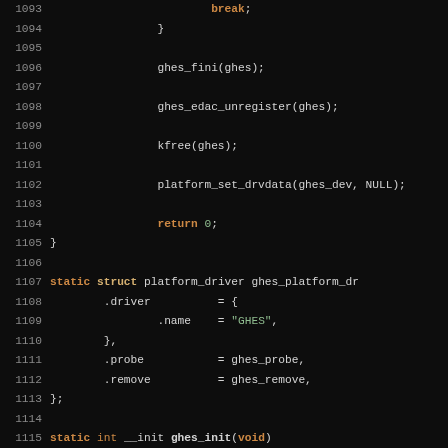Source code listing lines 1093-1122, C kernel code for GHES platform driver